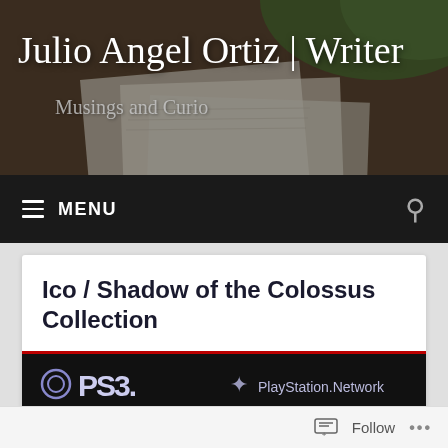[Figure (screenshot): Website header banner with blurred notebook/desk background image in earthy and green tones]
Julio Angel Ortiz | Writer
Musings and Curio
MENU
Ico / Shadow of the Colossus Collection
[Figure (screenshot): PS3 game packaging banner showing PS3 logo on left and PlayStation.Network logo on right, dark background with red accent stripe]
Follow